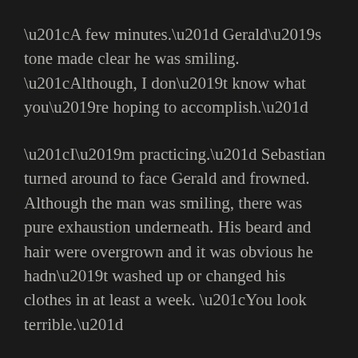“A few minutes.” Gerald’s tone made clear he was smiling. “Although, I don’t know what you’re hoping to accomplish.”
“I’m practicing.” Sebastian turned around to face Gerald and frowned. Although the man was smiling, there was pure exhaustion underneath. His beard and hair were overgrown and it was obvious he hadn’t washed up or changed his clothes in at least a week. “You look terrible.”
“What were you practicing? I can see you were trying to sneak up on the deer, but why?”
Sebastian wasn’t pleased that his concern was being ignored, but shrugged and answered. “I